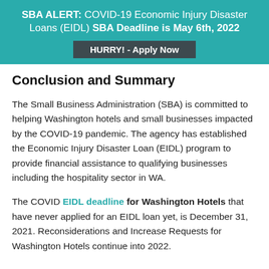SBA ALERT: COVID-19 Economic Injury Disaster Loans (EIDL) SBA Deadline is May 6th, 2022
HURRY! - Apply Now
Conclusion and Summary
The Small Business Administration (SBA) is committed to helping Washington hotels and small businesses impacted by the COVID-19 pandemic. The agency has established the Economic Injury Disaster Loan (EIDL) program to provide financial assistance to qualifying businesses including the hospitality sector in WA.
The COVID EIDL deadline for Washington Hotels that have never applied for an EIDL loan yet, is December 31, 2021. Reconsiderations and Increase Requests for Washington Hotels continue into 2022.